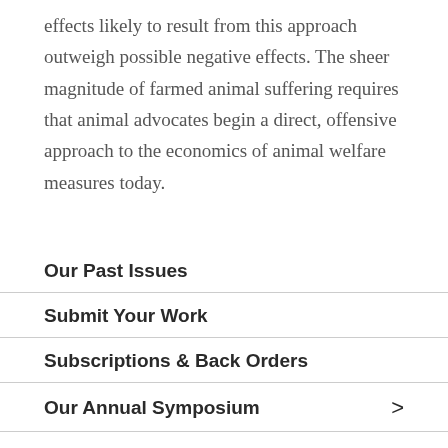effects likely to result from this approach outweigh possible negative effects. The sheer magnitude of farmed animal suffering requires that animal advocates begin a direct, offensive approach to the economics of animal welfare measures today.
Our Past Issues
Submit Your Work
Subscriptions & Back Orders
Our Annual Symposium